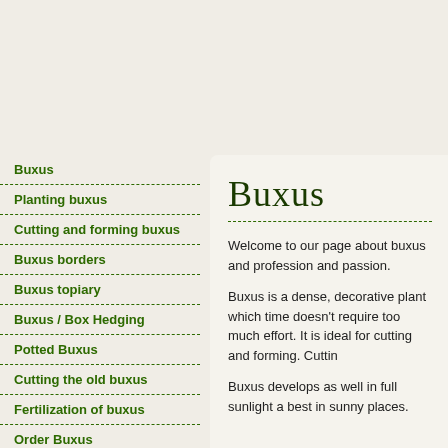Buxus
Planting buxus
Cutting and forming buxus
Buxus borders
Buxus topiary
Buxus / Box Hedging
Potted Buxus
Cutting the old buxus
Fertilization of buxus
Order Buxus
About Us
Buxus
Welcome to our page about buxus and profession and passion.
Buxus is a dense, decorative plant which time doesn't require too much effort. It is ideal for cutting and forming. Cuttin
Buxus develops as well in full sunlight a best in sunny places.